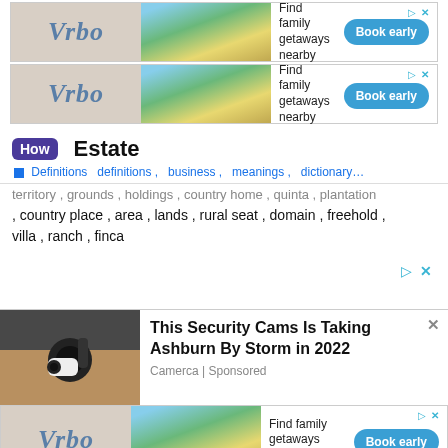[Figure (advertisement): Vrbo ad banner 1 - Find family getaways nearby with Book early button]
[Figure (advertisement): Vrbo ad banner 2 - Find family getaways nearby with Book early button]
Estate
Definitions definitions, business, meanings, dictionary…
, country place , area , lands , rural seat , domain , freehold , villa , ranch , finca
[Figure (advertisement): Ad controls placeholder with play and close icons]
[Figure (advertisement): Security cam ad - This Security Cams Is Taking Ashburn By Storm in 2022, Camerca | Sponsored]
[Figure (advertisement): Vrbo ad banner bottom - Find family getaways nearby with Book early button]